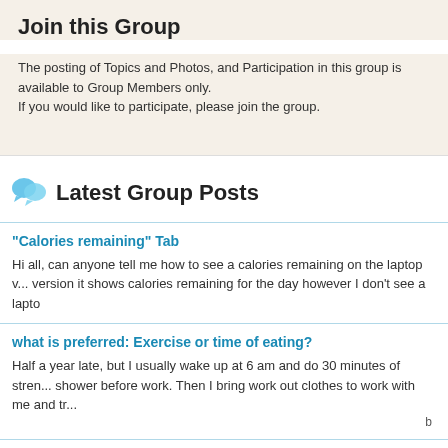Join this Group
The posting of Topics and Photos, and Participation in this group is available to Group Members only. If you would like to participate, please join the group.
Latest Group Posts
"Calories remaining" Tab
Hi all, can anyone tell me how to see a calories remaining on the laptop version it shows calories remaining for the day however I don't see a lapto
what is preferred: Exercise or time of eating?
Half a year late, but I usually wake up at 6 am and do 30 minutes of strength training and shower before work. Then I bring work out clothes to work with me and try
Belly Fat
I've always heard "Abs are made in the kitchen." Meaning - you have to eat right or fat will be covering up your abs rather than try to spot train. I mean core workout